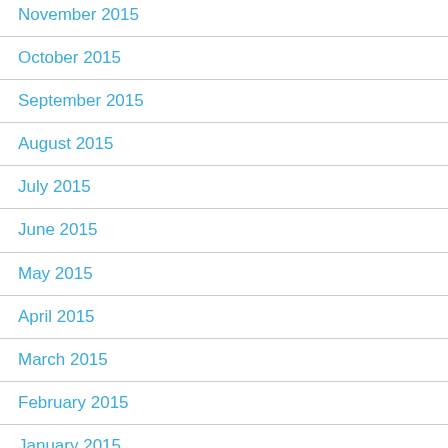November 2015
October 2015
September 2015
August 2015
July 2015
June 2015
May 2015
April 2015
March 2015
February 2015
January 2015